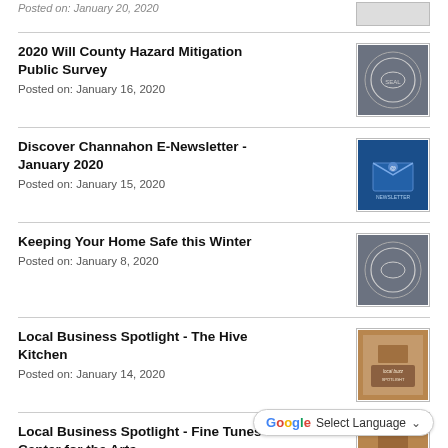2020 Will County Hazard Mitigation Public Survey
Posted on: January 16, 2020
Discover Channahon E-Newsletter - January 2020
Posted on: January 15, 2020
Keeping Your Home Safe this Winter
Posted on: January 8, 2020
Local Business Spotlight - The Hive Kitchen
Posted on: January 14, 2020
Local Business Spotlight - Fine Tunes Center for the Arts
Posted on: January 7, 2020